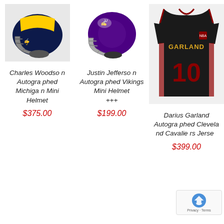[Figure (photo): Charles Woodson autographed Michigan mini football helmet, blue with yellow stripe]
Charles Woodson Autographed Michigan Mini Helmet
$375.00
[Figure (photo): Justin Jefferson autographed Minnesota Vikings mini football helmet, purple]
Justin Jefferson Autographed Vikings Mini Helmet +++
$199.00
[Figure (photo): Darius Garland autographed Cleveland Cavaliers jersey, black with number 10]
Darius Garland Autographed Cleveland Cavaliers Jersey
$399.00